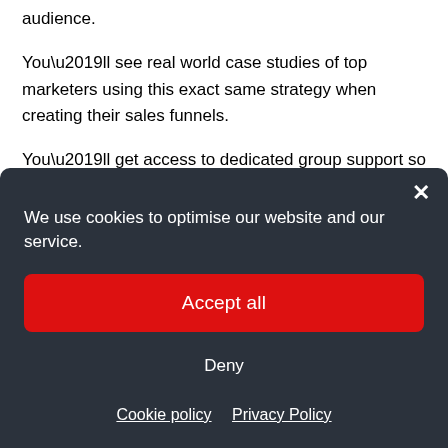audience.
You’ll see real world case studies of top marketers using this exact same strategy when creating their sales funnels.
You’ll get access to dedicated group support so you can reach out to your fellow students and mentors joining you on the Path to Conversion.
We use cookies to optimise our website and our service.
Accept all
Deny
Cookie policy   Privacy Policy